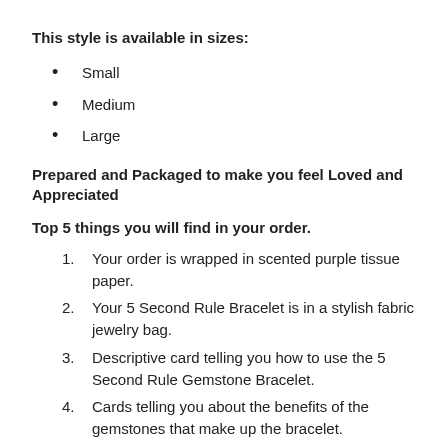This style is available in sizes:
Small
Medium
Large
Prepared and Packaged to make you feel Loved and Appreciated
Top 5 things you will find in your order.
Your order is wrapped in scented purple tissue paper.
Your 5 Second Rule Bracelet is in a stylish fabric jewelry bag.
Descriptive card telling you how to use the 5 Second Rule Gemstone Bracelet.
Cards telling you about the benefits of the gemstones that make up the bracelet.